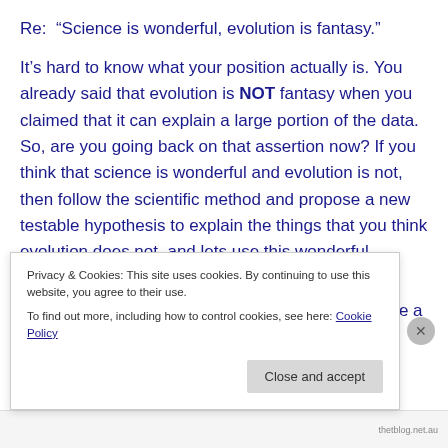Re:  “Science is wonderful, evolution is fantasy.”
It’s hard to know what your position actually is. You already said that evolution is NOT fantasy when you claimed that it can explain a large portion of the data. So, are you going back on that assertion now? If you think that science is wonderful and evolution is not, then follow the scientific method and propose a new testable hypothesis to explain the things that you think evolution does not, and lets use this wonderful science to see which one wins.
Re: “The better alternative is to admit there must be a
Privacy & Cookies: This site uses cookies. By continuing to use this website, you agree to their use.
To find out more, including how to control cookies, see here: Cookie Policy
Close and accept